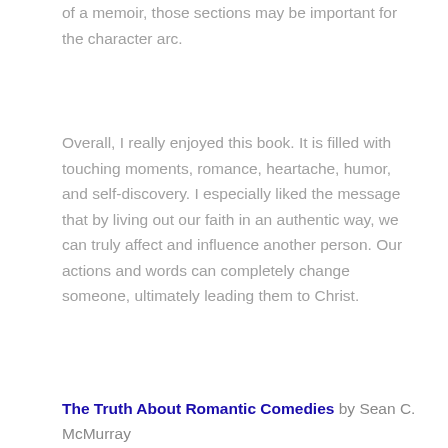of a memoir, those sections may be important for the character arc.
Overall, I really enjoyed this book. It is filled with touching moments, romance, heartache, humor, and self-discovery. I especially liked the message that by living out our faith in an authentic way, we can truly affect and influence another person. Our actions and words can completely change someone, ultimately leading them to Christ.
The Truth About Romantic Comedies by Sean C. McMurray